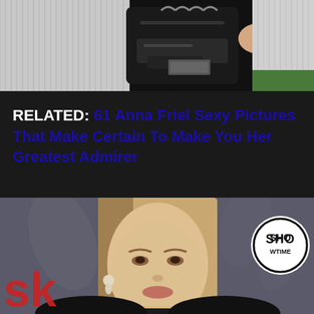[Figure (photo): Top portion of a photo showing a person holding a black leather bag against a white siding wall background]
RELATED: 61 Anna Friel Sexy Pictures That Make Certain To Make You Her Greatest Admirer
[Figure (photo): Photo of a blonde woman at what appears to be a Showtime event, with red text 'sk' visible on the left and the Showtime logo on the right]